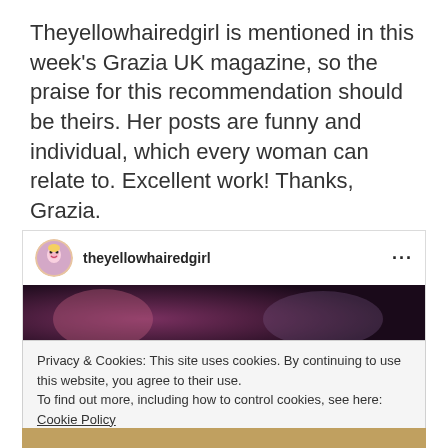Theyellowhairedgirl is mentioned in this week's Grazia UK magazine, so the praise for this recommendation should be theirs. Her posts are funny and individual, which every woman can relate to. Excellent work! Thanks, Grazia.
[Figure (screenshot): Instagram post card showing username 'theyellowhairedgirl' with avatar, three-dot menu, and a banner image with text 'I WISH I WAS FILLED WITH FRENCH FRIES']
Privacy & Cookies: This site uses cookies. By continuing to use this website, you agree to their use.
To find out more, including how to control cookies, see here:
Cookie Policy
Close and accept